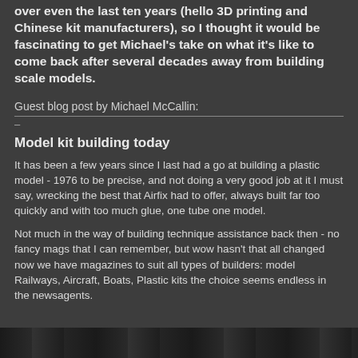over even the last ten years (hello 3D printing and Chinese kit manufacturers), so I thought it would be fascinating to get Michael's take on what it's like to come back after several decades away from building scale models.
Guest blog post by Michael McCallin:
–
Model kit building today
It has been a few years since I last had a go at building a plastic model - 1976 to be precise, and not doing a very good job at it I must say, wrecking the best that Airfix had to offer, always built far too quickly and with too much glue, one tube one model.
Not much in the way of building technique assistance back then - no fancy mags that I can remember, but wow hasn't that all changed now we have magazines to suit all types of builders: model Railways, Aircraft, Boats, Plastic kits the choice seems endless in the newsagents.
[Figure (photo): A horizontal strip image at the bottom of the page, appears to be a dark photograph related to model kits or models.]